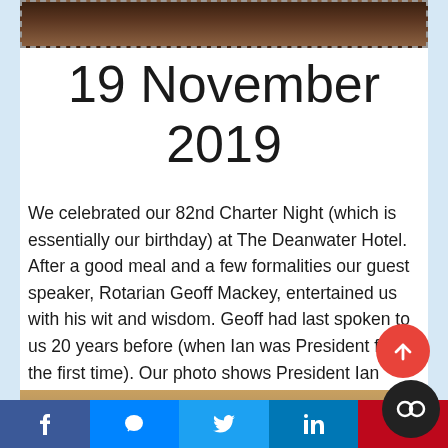[Figure (photo): Top portion of a photo showing people at a formal event, partially cropped, with dashed border]
19 November 2019
We celebrated our 82nd Charter Night (which is essentially our birthday) at The Deanwater Hotel. After a good meal and a few formalities our guest speaker, Rotarian Geoff Mackey, entertained us with his wit and wisdom. Geoff had last spoken to us 20 years before (when Ian was President for the first time). Our photo shows President Ian flanked by District Governor Patrick Tyrell (left) and Geoff (right).
[Figure (photo): Bottom portion of a photo showing people at the event, partially visible]